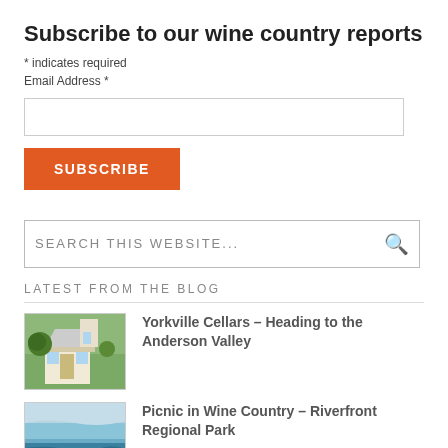Subscribe to our wine country reports
* indicates required
Email Address *
[Email input field]
SUBSCRIBE
SEARCH THIS WEBSITE...
LATEST FROM THE BLOG
Yorkville Cellars – Heading to the Anderson Valley
Picnic in Wine Country – Riverfront Regional Park